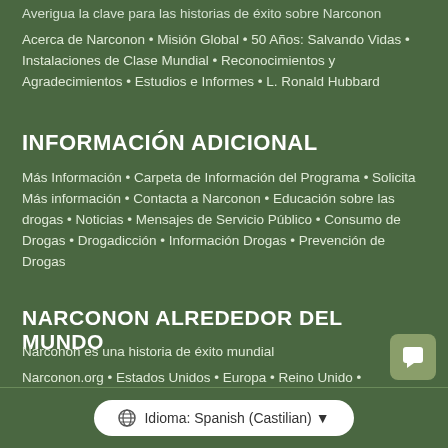Averigua la clave para las historias de éxito sobre Narconon
Acerca de Narconon • Misión Global • 50 Años: Salvando Vidas • Instalaciones de Clase Mundial • Reconocimientos y Agradecimientos • Estudios e Informes • L. Ronald Hubbard
INFORMACIÓN ADICIONAL
Más Información • Carpeta de Información del Programa • Solicita Más información • Contacta a Narconon • Educación sobre las drogas • Noticias • Mensajes de Servicio Público • Consumo de Drogas • Drogadicción • Información Drogas • Prevención de Drogas
NARCONON ALREDEDOR DEL MUNDO
Narconon es una historia de éxito mundial
Narconon.org • Estados Unidos • Europa • Reino Unido • Latinoamérica • Nepal
Idioma: Spanish (Castilian)